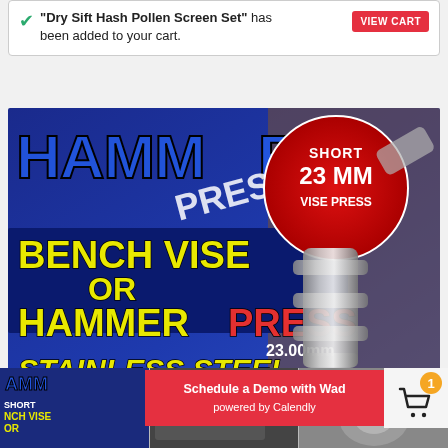"Dry Sift Hash Pollen Screen Set" has been added to your cart.
[Figure (screenshot): Product promotional image for Hammer Press Short 23MM Vise Press - Bench Vise or Hammer Press - Stainless Steel product, showing the press tool and bold text advertising.]
[Figure (screenshot): Thumbnail row showing three product images at the bottom of the page.]
Schedule a Demo with Wad powered by Calendly
1